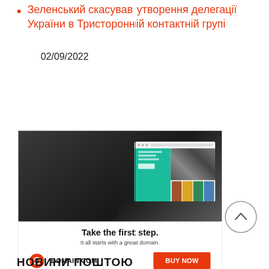Зеленський скасував утворення делегації України в Тристоронній контактній групі
02/09/2022
[Figure (photo): Advertisement banner for domain.com showing a man working on a bicycle with a screen mockup, headline 'Take the first step. It all starts with a great domain.' with DOMAIN.COM logo and BUY NOW button.]
НОВИНИ ПОШТОЮ